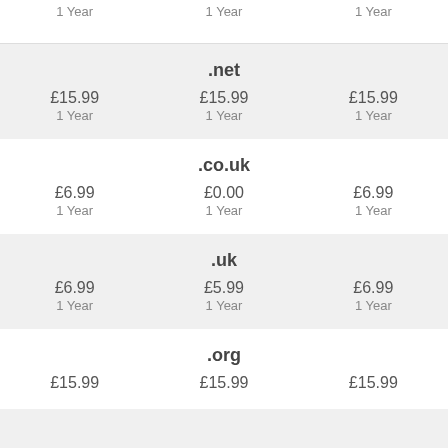| Register | Renew | Transfer |
| --- | --- | --- |
| 1 Year | 1 Year | 1 Year |
.net
| Register | Renew | Transfer |
| --- | --- | --- |
| £15.99 | £15.99 | £15.99 |
| 1 Year | 1 Year | 1 Year |
.co.uk
| Register | Renew | Transfer |
| --- | --- | --- |
| £6.99 | £0.00 | £6.99 |
| 1 Year | 1 Year | 1 Year |
.uk
| Register | Renew | Transfer |
| --- | --- | --- |
| £6.99 | £5.99 | £6.99 |
| 1 Year | 1 Year | 1 Year |
.org
| Register | Renew | Transfer |
| --- | --- | --- |
| £15.99 | £15.99 | £15.99 |